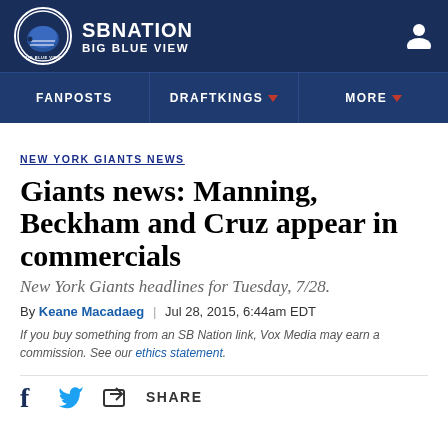SB NATION — BIG BLUE VIEW
NEW YORK GIANTS NEWS
Giants news: Manning, Beckham and Cruz appear in commercials
New York Giants headlines for Tuesday, 7/28.
By Keane Macadaeg | Jul 28, 2015, 6:44am EDT
If you buy something from an SB Nation link, Vox Media may earn a commission. See our ethics statement.
SHARE